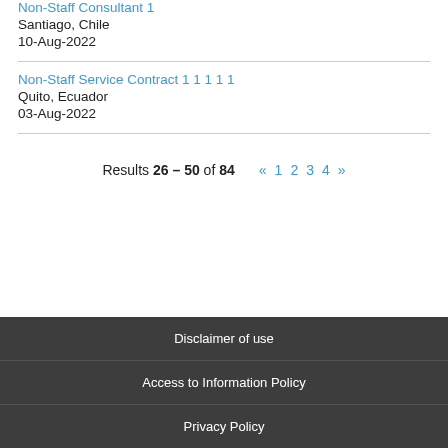Non-Staff Consultant 1
Santiago, Chile
10-Aug-2022
Non-Staff Service Contract 1 1 1 1 1
Quito, Ecuador
03-Aug-2022
Results 26 – 50 of 84  «  1  2  3  4  »
Disclaimer of use
Access to Information Policy
Privacy Policy